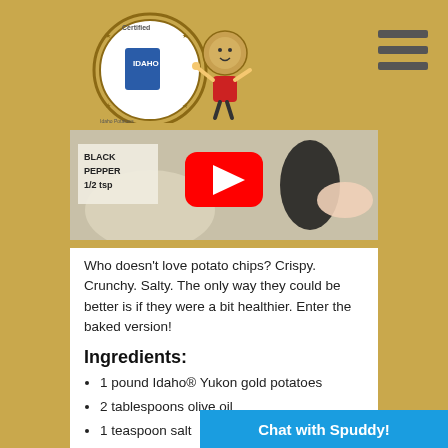Idaho Potato Commission website header with logo and hamburger menu
[Figure (screenshot): YouTube video thumbnail showing ingredients including BLACK PEPPER 1/2 tsp text and a hand with a dark object, with a red YouTube play button overlay]
Who doesn't love potato chips? Crispy. Crunchy. Salty. The only way they could be better is if they were a bit healthier. Enter the baked version!
Ingredients:
1 pound Idaho® Yukon gold potatoes
2 tablespoons olive oil
1 teaspoon salt
½ teaspoon
Chat with Spuddy!